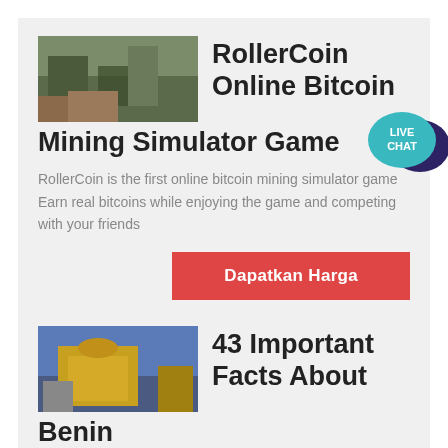[Figure (photo): Photo of mining/industrial equipment in outdoor setting]
RollerCoin Online Bitcoin Mining Simulator Game
RollerCoin is the first online bitcoin mining simulator game Earn real bitcoins while enjoying the game and competing with your friends
[Figure (illustration): Live Chat bubble icon with speech bubble graphic in teal/dark blue colors]
Dapatkan Harga
[Figure (photo): Photo of yellow industrial/mining machinery]
43 Important Facts About Benin
2020 3 3 The National flag of Benin Image